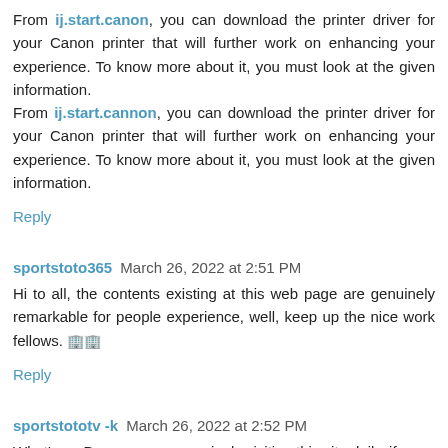From ij.start.canon, you can download the printer driver for your Canon printer that will further work on enhancing your experience. To know more about it, you must look at the given information.
From ij.start.cannon, you can download the printer driver for your Canon printer that will further work on enhancing your experience. To know more about it, you must look at the given information.
Reply
sportstoto365 March 26, 2022 at 2:51 PM
Hi to all, the contents existing at this web page are genuinely remarkable for people experience, well, keep up the nice work fellows. 🏢🏢
Reply
sportstototv -k March 26, 2022 at 2:52 PM
What's up Dear, are you genuinely visiting this site daily, if so you will without doubt get nice knowledge.